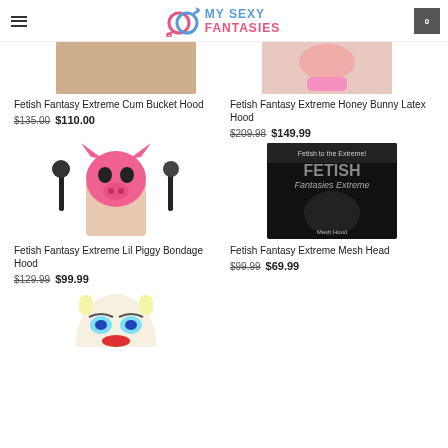MY SEXY FANTASIES
[Figure (photo): Cropped product image top left - blurred/cropped skin tone]
[Figure (photo): Cropped product image top right - person in pink bikini bottom]
Fetish Fantasy Extreme Cum Bucket Hood
$135.00  $110.00
Fetish Fantasy Extreme Honey Bunny Latex Hood
$209.98  $149.99
[Figure (photo): Person wearing pink pig mask holding paddles]
[Figure (photo): Fetish Fantasy Extreme Mesh Head product box]
Fetish Fantasy Extreme Lil Piggy Bondage Hood
$129.99  $99.99
Fetish Fantasy Extreme Mesh Head
$99.99  $69.99
[Figure (photo): Clown/doll mask product image, partially visible at bottom]